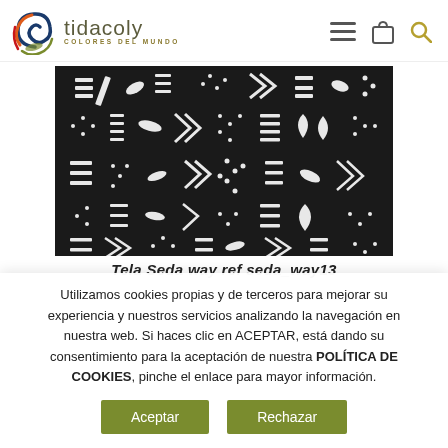[Figure (logo): Tidacoly logo with colorful spiral icon and text 'tidacoly COLORES DEL MUNDO']
[Figure (photo): Close-up of black and white patterned fabric (Tela Seda way) with geometric African-style print]
Tela Seda way ref seda_way13
Utilizamos cookies propias y de terceros para mejorar su experiencia y nuestros servicios analizando la navegación en nuestra web. Si haces clic en ACEPTAR, está dando su consentimiento para la aceptación de nuestra POLÍTICA DE COOKIES, pinche el enlace para mayor información.
Aceptar | Rechazar